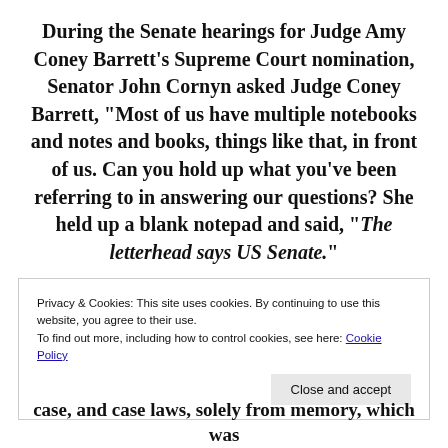During the Senate hearings for Judge Amy Coney Barrett's Supreme Court nomination, Senator John Cornyn asked Judge Coney Barrett, “Most of us have multiple notebooks and notes and books, things like that, in front of us. Can you hold up what you’ve been referring to in answering our questions? She held up a blank notepad and said, “The letterhead says US Senate.”
Privacy & Cookies: This site uses cookies. By continuing to use this website, you agree to their use.
To find out more, including how to control cookies, see here: Cookie Policy
case, and case laws, solely from memory, which was